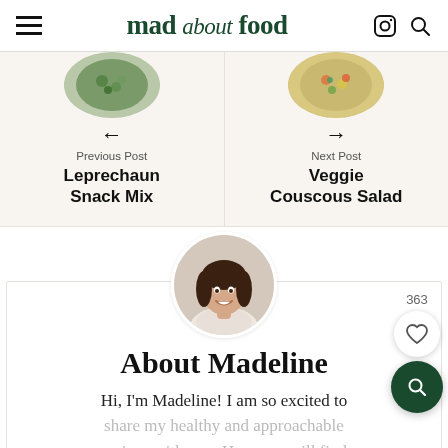mad about food
[Figure (photo): Left: circular overhead photo of a bowl with green salad/snack mix]
← Previous Post Leprechaun Snack Mix
[Figure (photo): Right: circular overhead photo of a colorful couscous salad bowl]
→ Next Post Veggie Couscous Salad
[Figure (photo): Circular portrait photo of Madeline, a woman with dark hair, smiling]
About Madeline
Hi, I'm Madeline! I am so excited to share my healthy and approachable recipes with you. Here you will find